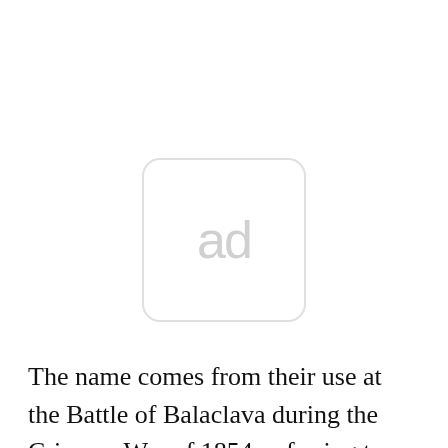[Figure (other): Advertisement placeholder icon — a rounded rectangle with the letters 'ad' in light gray]
The name comes from their use at the Battle of Balaclava during the Crimean War of 1854, referring to the town near Sevastopol in the Crimea, where British troops there wore knitted